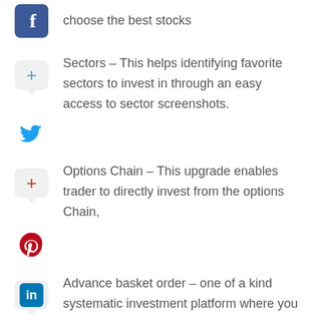choose the best stocks
Sectors – This helps identifying favorite sectors to invest in through an easy access to sector screenshots.
Options Chain – This upgrade enables trader to directly invest from the options Chain,
Advance basket order – one of a kind systematic investment platform where you can create baskets of Equity/ETF investments and schedule the orders at